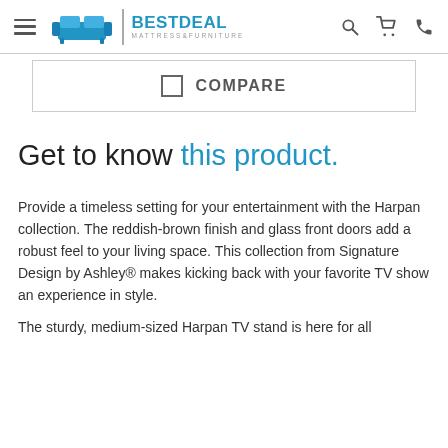BestDeal Mattress & Furniture — navigation header with logo, search, cart, and phone icons
COMPARE
Get to know this product.
Provide a timeless setting for your entertainment with the Harpan collection. The reddish-brown finish and glass front doors add a robust feel to your living space. This collection from Signature Design by Ashley® makes kicking back with your favorite TV show an experience in style.
The sturdy, medium-sized Harpan TV stand is here for all